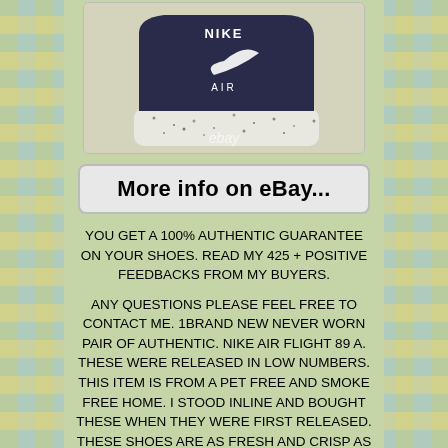[Figure (photo): Nike Air shoe heel/tongue detail showing Nike logo and AIR branding with white speckled sole on beige background, with eBay watermark]
More info on eBay...
YOU GET A 100% AUTHENTIC GUARANTEE ON YOUR SHOES. READ MY 425 + POSITIVE FEEDBACKS FROM MY BUYERS.
ANY QUESTIONS PLEASE FEEL FREE TO CONTACT ME. 1BRAND NEW NEVER WORN PAIR OF AUTHENTIC. NIKE AIR FLIGHT 89 A. THESE WERE RELEASED IN LOW NUMBERS. THIS ITEM IS FROM A PET FREE AND SMOKE FREE HOME. I STOOD INLINE AND BOUGHT THESE WHEN THEY WERE FIRST RELEASED. THESE SHOES ARE AS FRESH AND CRISP AS THE DAY THEY WERE RELEASED.. I HAVE HAD THEM IN MY CLOSET SEALED IN A TOTE... I'm NOW RELEASING MY PERSONAL STASH TO MAKE ROOM IN CLOSET... View My